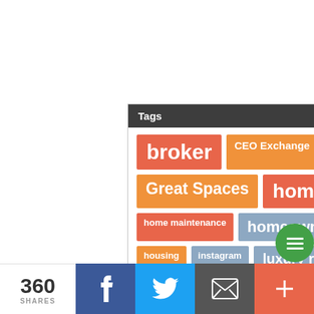Tags
[Figure (infographic): Tag cloud widget showing real estate related tags including: broker (large, red), CEO Exchange (orange), curb appeal (orange), DIY (blue), Facebook (blue), Great Spaces (orange, large), homebuyer (large, red), home improvement (blue), home maintenance (red), homeowner (blue, medium-large), homeownership (red), home sale (blue), home seller (blue), housing (orange), instagram (blue), luxury real estate (blue, large), marketing (red), millennials (orange), moving (red), NAR (blue)]
360 SHARES
[Figure (infographic): Social share bar with Facebook (dark blue), Twitter (light blue), Email (dark gray), and More (red/orange) buttons]